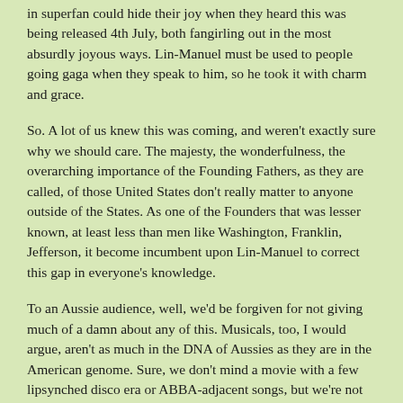in superfan could hide their joy when they heard this was being released 4th July, both fangirling out in the most absurdly joyous ways. Lin-Manuel must be used to people going gaga when they speak to him, so he took it with charm and grace.
So. A lot of us knew this was coming, and weren't exactly sure why we should care. The majesty, the wonderfulness, the overarching importance of the Founding Fathers, as they are called, of those United States don't really matter to anyone outside of the States. As one of the Founders that was lesser known, at least less than men like Washington, Franklin, Jefferson, it become incumbent upon Lin-Manuel to correct this gap in everyone's knowledge.
To an Aussie audience, well, we'd be forgiven for not giving much of a damn about any of this. Musicals, too, I would argue, aren't as much in the DNA of Aussies as they are in the American genome. Sure, we don't mind a movie with a few lipsynched disco era or ABBA-adjacent songs, but we're not that huge on the whole palaver. We don't have multiple stage musicals about the founding of our great nation, because, let's be honest, it's not going to be a